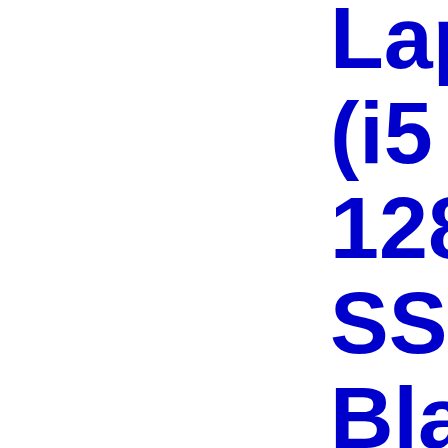Laptop (i5 8GB 128GB SSD) - Black Surface Type Cover